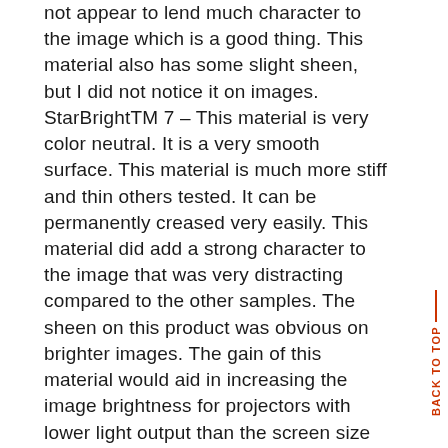not appear to lend much character to the image which is a good thing. This material also has some slight sheen, but I did not notice it on images. StarBrightTM 7 – This material is very color neutral. It is a very smooth surface. This material is much more stiff and thin others tested. It can be permanently creased very easily. This material did add a strong character to the image that was very distracting compared to the other samples. The sheen on this product was obvious on brighter images. The gain of this material would aid in increasing the image brightness for projectors with lower light output than the screen size desired. This was very objectionable material for home theater use and is not one I would recommend. SolidPixl Matte White – This material was not very color neutral. It does have a slight amount of texture, but this appears to slightly soften image in distant...